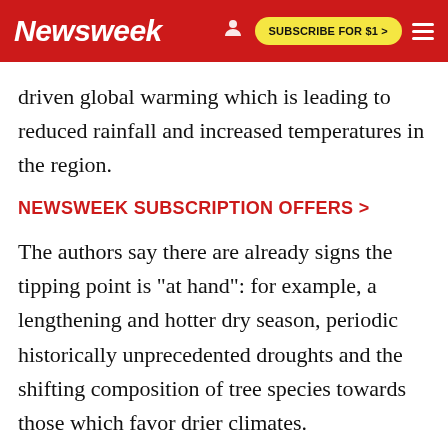Newsweek | SUBSCRIBE FOR $1 >
driven global warming which is leading to reduced rainfall and increased temperatures in the region.
NEWSWEEK SUBSCRIPTION OFFERS >
The authors say there are already signs the tipping point is "at hand": for example, a lengthening and hotter dry season, periodic historically unprecedented droughts and the shifting composition of tree species towards those which favor drier climates.